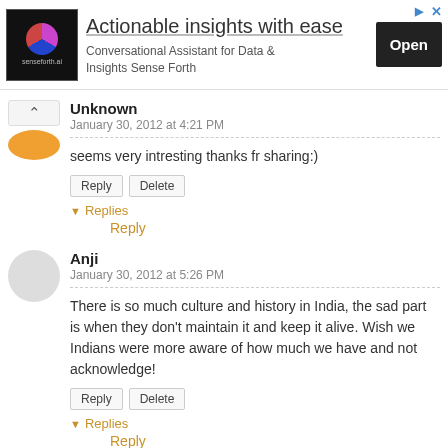[Figure (other): Advertisement banner for senseforth.ai: logo image on left, headline 'Actionable insights with ease', subtitle 'Conversational Assistant for Data & Insights Sense Forth', black Open button on right.]
Unknown
January 30, 2012 at 4:21 PM
seems very intresting thanks fr sharing:)
Reply  Delete
▾ Replies
Reply
Anji
January 30, 2012 at 5:26 PM
There is so much culture and history in India, the sad part is when they don't maintain it and keep it alive. Wish we Indians were more aware of how much we have and not acknowledge!
Reply  Delete
▾ Replies
Reply
Kavita Saharia